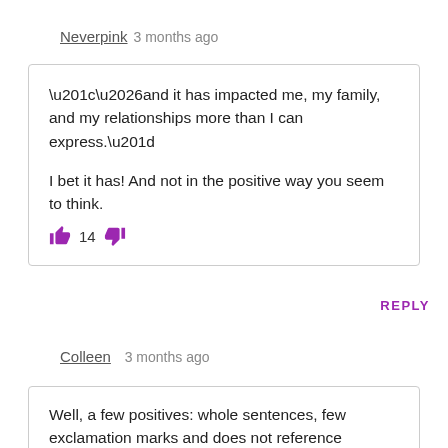Neverpink   3 months ago
“…and it has impacted me, my family, and my relationships more than I can express.”

I bet it has! And not in the positive way you seem to think.

👍 14 👎
REPLY
Colleen   3 months ago
Well, a few positives: whole sentences, few exclamation marks and does not reference